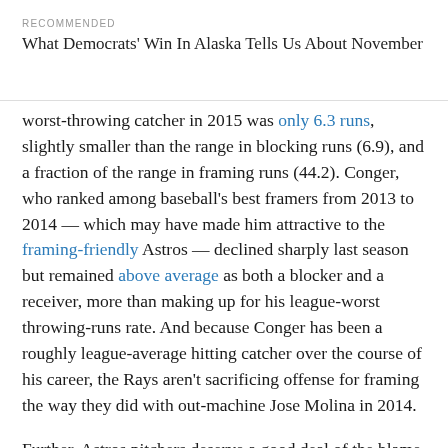RECOMMENDED
What Democrats' Win In Alaska Tells Us About November
worst-throwing catcher in 2015 was only 6.3 runs, slightly smaller than the range in blocking runs (6.9), and a fraction of the range in framing runs (44.2). Conger, who ranked among baseball's best framers from 2013 to 2014 — which may have made him attractive to the framing-friendly Astros — declined sharply last season but remained above average as both a blocker and a receiver, more than making up for his league-worst throwing-runs rate. And because Conger has been a roughly league-average hitting catcher over the course of his career, the Rays aren't sacrificing offense for framing the way they did with out-machine Jose Molina in 2014.
Further, Astros pitchers deserve a good deal of the blame for Conger's historic base-stealing struggles